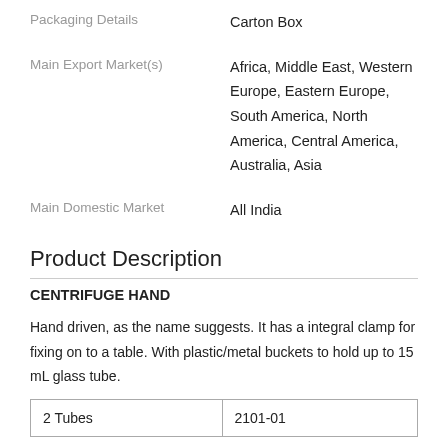Packaging Details: Carton Box
Main Export Market(s): Africa, Middle East, Western Europe, Eastern Europe, South America, North America, Central America, Australia, Asia
Main Domestic Market: All India
Product Description
CENTRIFUGE HAND
Hand driven, as the name suggests. It has a integral clamp for fixing on to a table. With plastic/metal buckets to hold up to 15 mL glass tube.
| 2 Tubes | 2101-01 |
| --- | --- |